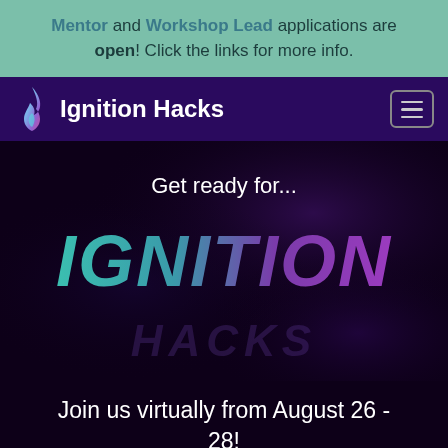Mentor and Workshop Lead applications are open! Click the links for more info.
Ignition Hacks
[Figure (screenshot): Screenshot of Ignition Hacks website hero section showing 'Get ready for... IGNITION' text on dark purple background with gradient IGNITION text and faint HACKS watermark]
Join us virtually from August 26 - 28!